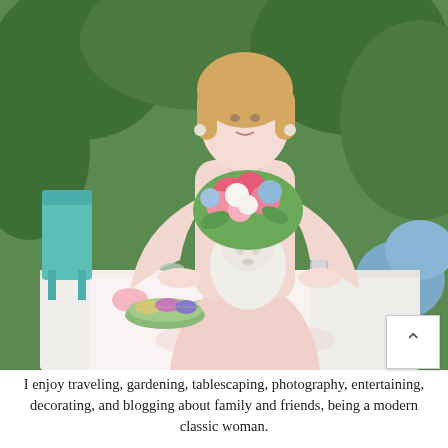[Figure (photo): A woman with blonde hair wearing a light pink long-sleeve blouse stands behind a white-tablecloth table outdoors in a garden setting. She leans on the table next to a white head-shaped vase filled with pink, white, and blue flowers. On the table is a green plate with colorful macarons and a floral table runner. Lush green foliage and hydrangeas are visible in the background. A teal chair is visible on the left.]
I enjoy traveling, gardening, tablescaping, photography, entertaining, decorating, and blogging about family and friends, being a modern classic woman. ...